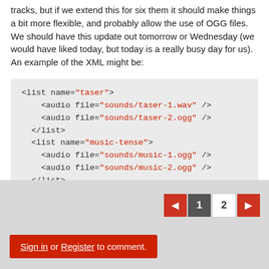tracks, but if we extend this for six them it should make things a bit more flexible, and probably allow the use of OGG files. We should have this update out tomorrow or Wednesday (we would have liked today, but today is a really busy day for us). An example of the XML might be:
<list name="taser">
    <audio file="sounds/taser-1.wav" />
    <audio file="sounds/taser-2.ogg" />
  </list>
  <list name="music-tense">
    <audio file="sounds/music-1.ogg" />
    <audio file="sounds/music-2.ogg" />
  </list>
◄ 1 2 ► | Sign in or Register to comment.